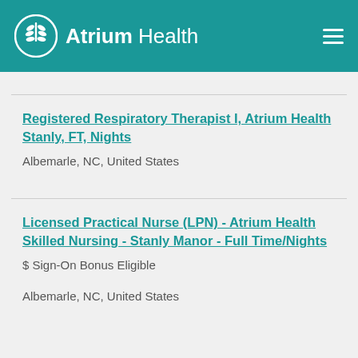[Figure (logo): Atrium Health logo with circular leaf/wheat icon and text 'Atrium Health' on teal background header, with hamburger menu icon on right]
Registered Respiratory Therapist I, Atrium Health Stanly, FT, Nights
Albemarle, NC, United States
Licensed Practical Nurse (LPN) - Atrium Health Skilled Nursing - Stanly Manor - Full Time/Nights
$ Sign-On Bonus Eligible
Albemarle, NC, United States